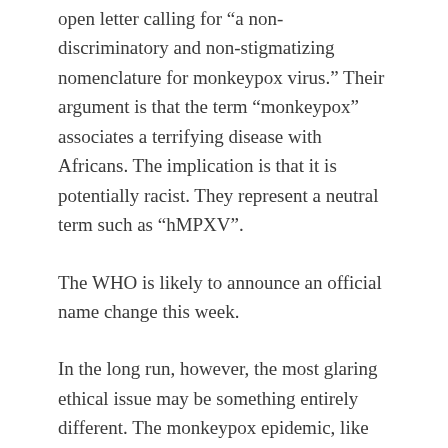open letter calling for “a non-discriminatory and non-stigmatizing nomenclature for monkeypox virus.” Their argument is that the term “monkeypox” associates a terrifying disease with Africans. The implication is that it is potentially racist. They represent a neutral term such as “hMPXV”.
The WHO is likely to announce an official name change this week.
In the long run, however, the most glaring ethical issue may be something entirely different. The monkeypox epidemic, like the HIV/AIDS epidemic, may become a problem in public health ethics – it appears that it is almost exclusively a disease spread through sexual contact among homosexuals.
Even the WHO acknowledges this in its official advice: “The